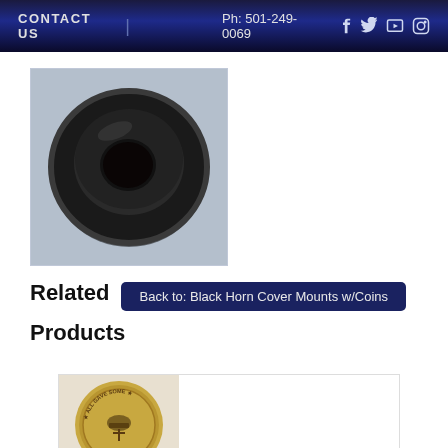CONTACT US  |  Ph: 501-249-0069
[Figure (photo): Black circular horn cover mount, a ring-shaped rubber/plastic piece with a hole in the center, viewed from above on a light blue-gray background.]
Related Products
Back to: Black Horn Cover Mounts w/Coins
[Figure (photo): Gold/bronze challenge coin partially visible, showing text 'ALL GAVE SOME' and a military helmet image.]